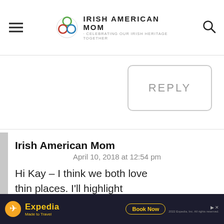Irish American Mom - Celebrating Our Irish Heritage Together
REPLY
Irish American Mom
April 10, 2018 at 12:54 pm
Hi Kay – I think we both love thin places. I'll highlight
[Figure (screenshot): Expedia advertisement banner: Made to Travel, Book Now, 2022 Expedia Inc. All rights reserved.]